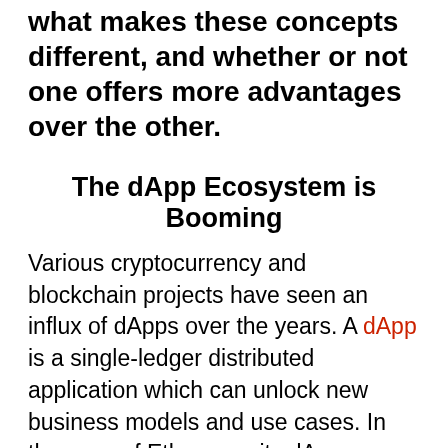overlooked. Since now is a good time to see what makes these concepts different, and whether or not one offers more advantages over the other.
The dApp Ecosystem is Booming
Various cryptocurrency and blockchain projects have seen an influx of dApps over the years. A dApp is a single-ledger distributed application which can unlock new business models and use cases. In the case of Ethereum, its dApp ecosystem has gone off without a hitch over the past few years, despite hitting a few roadblocks in terms of scaling and network congestion.